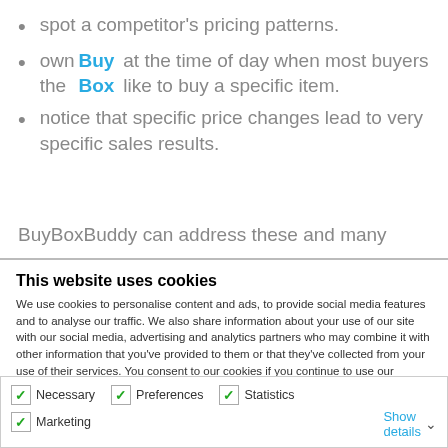spot a competitor's pricing patterns.
own the Buy Box at the time of day when most buyers like to buy a specific item.
notice that specific price changes lead to very specific sales results.
BuyBoxBuddy can address these and many
This website uses cookies
We use cookies to personalise content and ads, to provide social media features and to analyse our traffic. We also share information about your use of our site with our social media, advertising and analytics partners who may combine it with other information that you've provided to them or that they've collected from your use of their services. You consent to our cookies if you continue to use our website.
OK
Necessary  Preferences  Statistics  Marketing  Show details